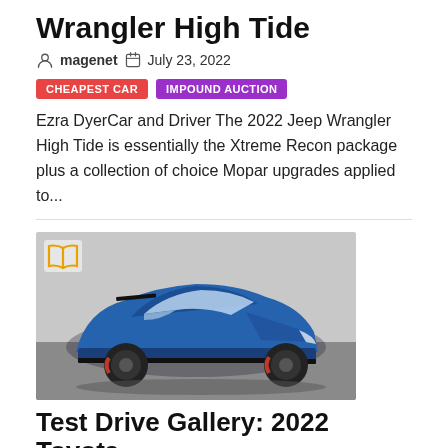Wrangler High Tide
magenet  July 23, 2022
CHEAPEST CAR   IMPOUND AUCTION
Ezra DyerCar and Driver The 2022 Jeep Wrangler High Tide is essentially the Xtreme Recon package plus a collection of choice Mopar upgrades applied to...
[Figure (photo): Blue Toyota Camry TRD sports sedan photographed in a parking area, with black wheels and red brake calipers, with an orange book/open-book icon overlay in the top left corner of the image.]
Test Drive Gallery: 2022 Toyota